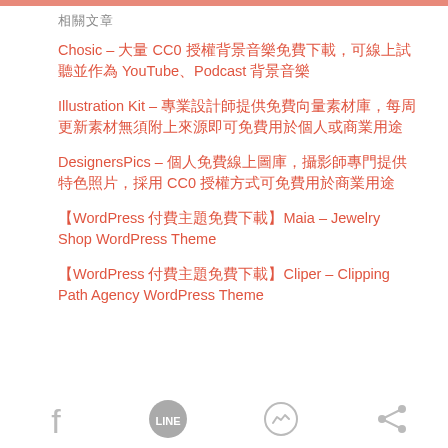相關文章
Chosic – 大量 CC0 授權背景音樂免費下載，可線上試聽並作為 YouTube、Podcast 背景音樂
Illustration Kit – 專業設計師提供免費向量素材庫，每周更新素材無須附上來源即可免費用於個人或商業用途
DesignersPics – 個人免費線上圖庫，攝影師專門提供特色照片，採用 CC0 授權方式可免費用於商業用途
【WordPress 付費主題免費下載】Maia – Jewelry Shop WordPress Theme
【WordPress 付費主題免費下載】Cliper – Clipping Path Agency WordPress Theme
[Figure (infographic): Social share icons: Facebook, LINE, Messenger, Share]